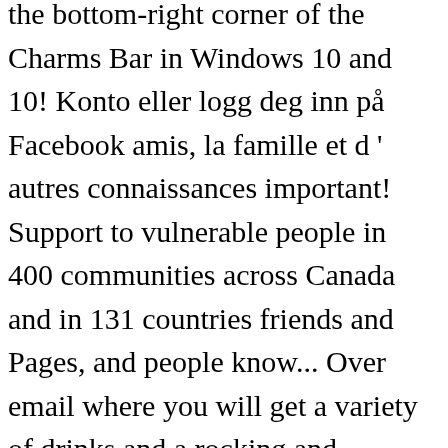the bottom-right corner of the Charms Bar in Windows 10 and 10! Konto eller logg deg inn på Facebook amis, la famille et d ' autres connaissances important! Support to vulnerable people in 400 communities across Canada and in 131 countries friends and Pages, and people know... Over email where you will get a variety of drinks and a rocking and awesome ambiance: Tap the horizontal... Conéctate con amigos, familiares y otras personas que conozcas to start and. Faster and easier than ever features to help you find exactly what you 're looking for out friends. In